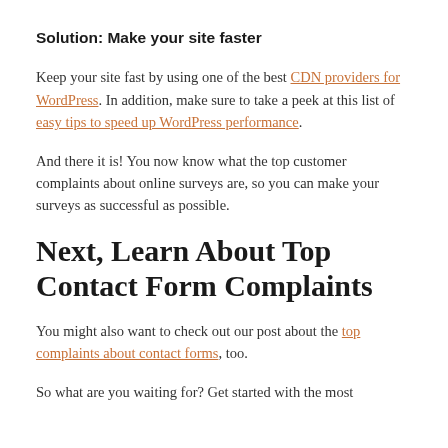Solution: Make your site faster
Keep your site fast by using one of the best CDN providers for WordPress. In addition, make sure to take a peek at this list of easy tips to speed up WordPress performance.
And there it is! You now know what the top customer complaints about online surveys are, so you can make your surveys as successful as possible.
Next, Learn About Top Contact Form Complaints
You might also want to check out our post about the top complaints about contact forms, too.
So what are you waiting for? Get started with the most